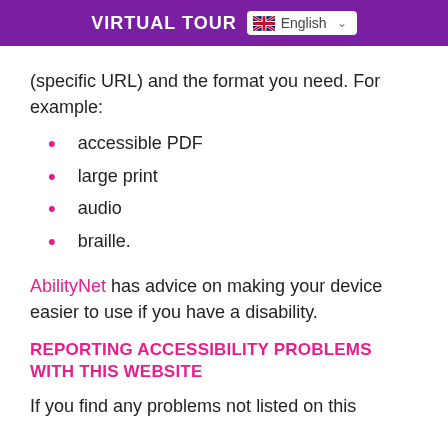VIRTUAL TOUR  English
(specific URL) and the format you need. For example:
accessible PDF
large print
audio
braille.
AbilityNet has advice on making your device easier to use if you have a disability.
REPORTING ACCESSIBILITY PROBLEMS WITH THIS WEBSITE
If you find any problems not listed on this